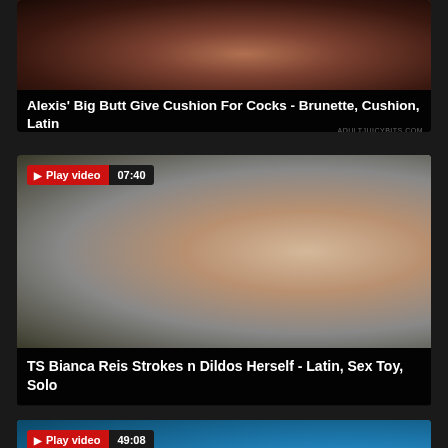[Figure (screenshot): Video thumbnail - partially visible, showing adult content]
Alexis' Big Butt Give Cushion For Cocks - Brunette, Cushion, Latin
[Figure (screenshot): Video thumbnail with Play video button and 07:40 duration badge - adult content video]
TS Bianca Reis Strokes n Dildos Herself - Latin, Sex Toy, Solo
[Figure (screenshot): Video thumbnail with Play video button and 49:08 duration badge - partially visible]